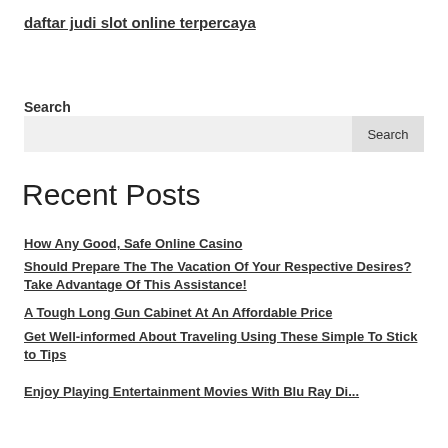daftar judi slot online terpercaya
Search
[Search input and button]
Recent Posts
How Any Good, Safe Online Casino
Should Prepare The The Vacation Of Your Respective Desires? Take Advantage Of This Assistance!
A Tough Long Gun Cabinet At An Affordable Price
Get Well-informed About Traveling Using These Simple To Stick to Tips
Enjoy Playing Entertainment Movies With Blu Ray Disc...